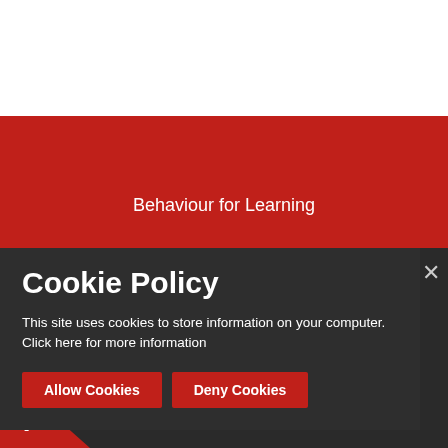Behaviour for Learning
Calendar
...erview
Extra Curricular Activites
Cookie Policy
This site uses cookies to store information on your computer. Click here for more information
Allow Cookies
Deny Cookies